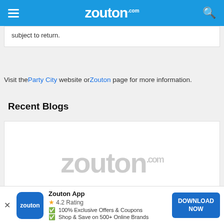zouton.com
subject to return.
Visit the Party City website or Zouton page for more information.
Recent Blogs
[Figure (logo): Zouton.com watermark logo placeholder for blog image]
Columbia Student Discount | August 2022 |
Zouton App — 4.2 Rating — 100% Exclusive Offers & Coupons — Shop & Save on 500+ Online Brands — DOWNLOAD NOW